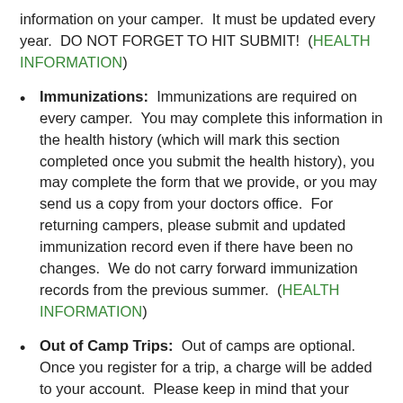information on your camper.  It must be updated every year.  DO NOT FORGET TO HIT SUBMIT!  (HEALTH INFORMATION)
Immunizations:  Immunizations are required on every camper.  You may complete this information in the health history (which will mark this section completed once you submit the health history), you may complete the form that we provide, or you may send us a copy from your doctors office.  For returning campers, please submit and updated immunization record even if there have been no changes.  We do not carry forward immunization records from the previous summer.  (HEALTH INFORMATION)
Out of Camp Trips:  Out of camps are optional.  Once you register for a trip, a charge will be added to your account.  Please keep in mind that your camper is not completely enrolled until payment for that trip is received.  We will NOT automatically charge your